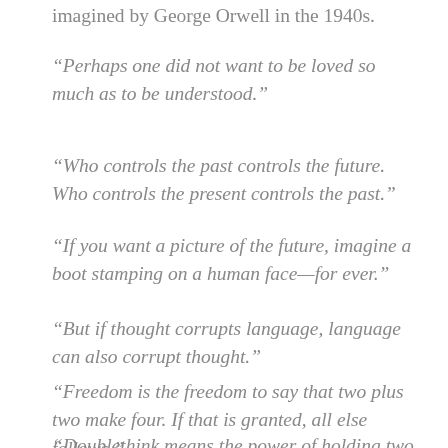imagined by George Orwell in the 1940s.
“Perhaps one did not want to be loved so much as to be understood.”
“Who controls the past controls the future. Who controls the present controls the past.”
“If you want a picture of the future, imagine a boot stamping on a human face—for ever.”
“But if thought corrupts language, language can also corrupt thought.”
“Freedom is the freedom to say that two plus two make four. If that is granted, all else follows.”
“Doublethink means the power of holding two